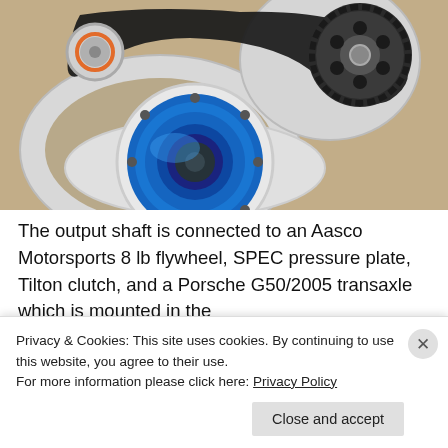[Figure (photo): Close-up photo of an automotive drivetrain assembly showing a blue SPEC/Tilton clutch disc and pressure plate mounted to a white housing, with a timing belt and sprocket visible above, on a beige/tan background.]
The output shaft is connected to an Aasco Motorsports 8 lb flywheel, SPEC pressure plate, Tilton clutch, and a Porsche G50/2005 transaxle which is mounted in the
Privacy & Cookies: This site uses cookies. By continuing to use this website, you agree to their use.
For more information please click here: Privacy Policy
Close and accept